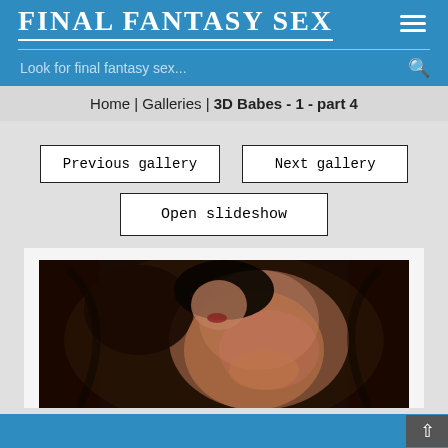FINAL FANTASY SEX
Look for final fantasy sex...
Home | Galleries | 3D Babes - 1 - part 4
Previous gallery
Next gallery
Open slideshow
[Figure (photo): 3D rendered image of animated female figure, dark fantasy setting]
Scroll to top button